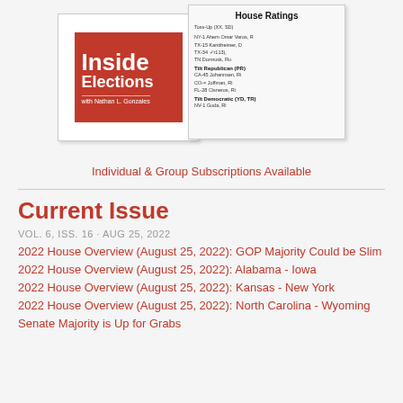[Figure (illustration): Inside Elections newsletter mockup showing a red logo box on the left with 'Inside Elections' text and a House Ratings sheet on the right with ratings categories and entries]
Individual & Group Subscriptions Available
Current Issue
VOL. 6, ISS. 16 · AUG 25, 2022
2022 House Overview (August 25, 2022): GOP Majority Could be Slim
2022 House Overview (August 25, 2022): Alabama - Iowa
2022 House Overview (August 25, 2022): Kansas - New York
2022 House Overview (August 25, 2022): North Carolina - Wyoming
Senate Majority is Up for Grabs